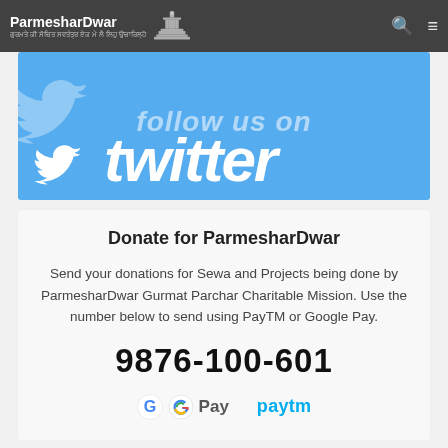ParmesharDwar
[Figure (screenshot): Twitter 'Follow us on' banner with blue background and Twitter bird logo and 'twitter' wordmark in white]
Donate for ParmesharDwar
Send your donations for Sewa and Projects being done by ParmesharDwar Gurmat Parchar Charitable Mission. Use the number below to send using PayTM or Google Pay.
9876-100-601
[Figure (logo): Google Pay and Paytm logos side by side]